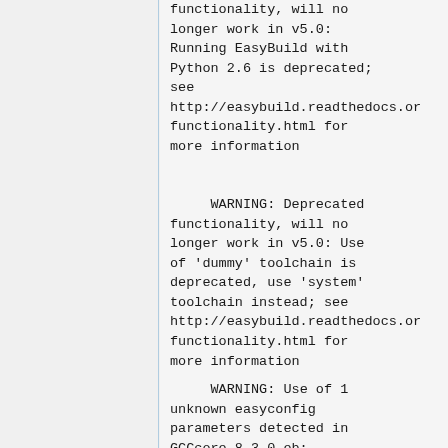functionality, will no longer work in v5.0: Running EasyBuild with Python 2.6 is deprecated; see http://easybuild.readthedocs.or functionality.html for more information
WARNING: Deprecated functionality, will no longer work in v5.0: Use of 'dummy' toolchain is deprecated, use 'system' toolchain instead; see http://easybuild.readthedocs.or functionality.html for more information
WARNING: Use of 1 unknown easyconfig parameters detected in GCCcore-8.3.0.eb: